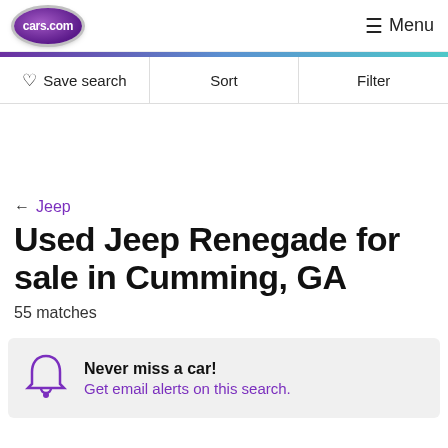cars.com  Menu
Save search  Sort  Filter
← Jeep
Used Jeep Renegade for sale in Cumming, GA
55 matches
Never miss a car! Get email alerts on this search.